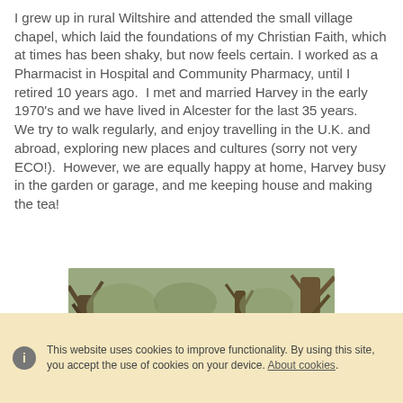I grew up in rural Wiltshire and attended the small village chapel, which laid the foundations of my Christian Faith, which at times has been shaky, but now feels certain. I worked as a Pharmacist in Hospital and Community Pharmacy, until I retired 10 years ago.  I met and married Harvey in the early 1970's and we have lived in Alcester for the last 35 years.
We try to walk regularly, and enjoy travelling in the U.K. and abroad, exploring new places and cultures (sorry not very ECO!).  However, we are equally happy at home, Harvey busy in the garden or garage, and me keeping house and making the tea!
[Figure (photo): A woman wearing a blue beanie hat and outdoor jacket, smiling, in a woodland setting with bare trees in the background.]
This website uses cookies to improve functionality. By using this site, you accept the use of cookies on your device. About cookies.